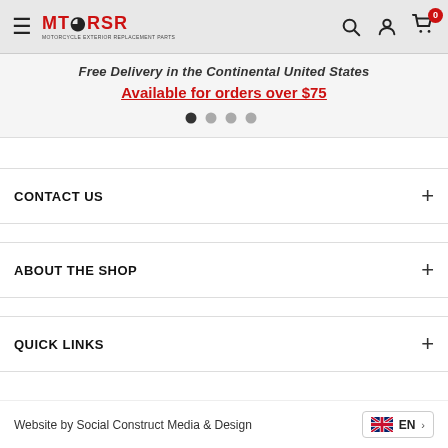[Figure (logo): MT RSR logo with hamburger menu icon and navigation icons (search, account, cart with badge 0)]
Free Delivery in the Continental United States
Available for orders over $75
[Figure (other): Carousel pagination dots, 4 dots with first dot active]
CONTACT US
ABOUT THE SHOP
QUICK LINKS
Website by Social Construct Media & Design